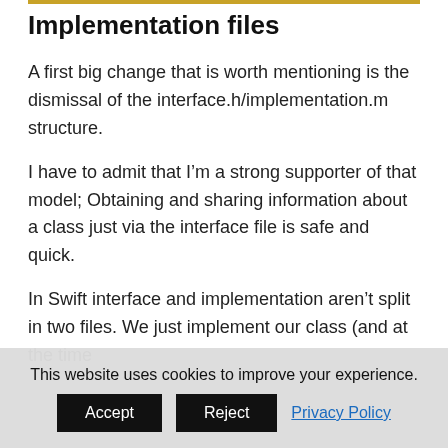Implementation files
A first big change that is worth mentioning is the dismissal of the interface.h/implementation.m structure.
I have to admit that I’m a strong supporter of that model; Obtaining and sharing information about a class just via the interface file is safe and quick.
In Swift interface and implementation aren’t split in two files. We just implement our class (and at the time
This website uses cookies to improve your experience.